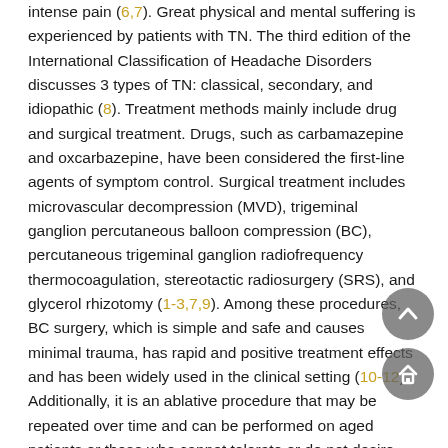intense pain (6,7). Great physical and mental suffering is experienced by patients with TN. The third edition of the International Classification of Headache Disorders discusses 3 types of TN: classical, secondary, and idiopathic (8). Treatment methods mainly include drug and surgical treatment. Drugs, such as carbamazepine and oxcarbazepine, have been considered the first-line agents of symptom control. Surgical treatment includes microvascular decompression (MVD), trigeminal ganglion percutaneous balloon compression (BC), percutaneous trigeminal ganglion radiofrequency thermocoagulation, stereotactic radiosurgery (SRS), and glycerol rhizotomy (1-3,7,9). Among these procedures, BC surgery, which is simple and safe and causes minimal trauma, has rapid and positive treatment effects and has been widely used in the clinical setting (10-12). Additionally, it is an ablative procedure that may be repeated over time and can be performed on aged patients or those who cannot tolerate or do not desire MVD (13,14).
In 1980, Mullan et al. first introduced BC as a type of TN